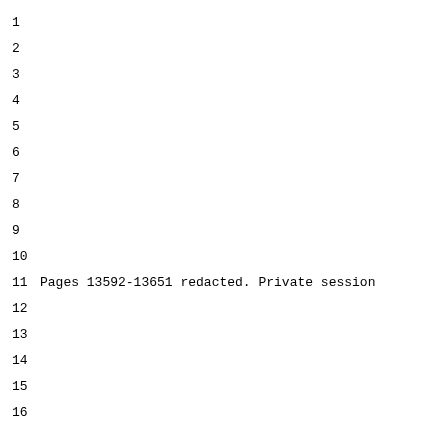1
2
3
4
5
6
7
8
9
10
11 Pages 13592-13651 redacted. Private session
12
13
14
15
16